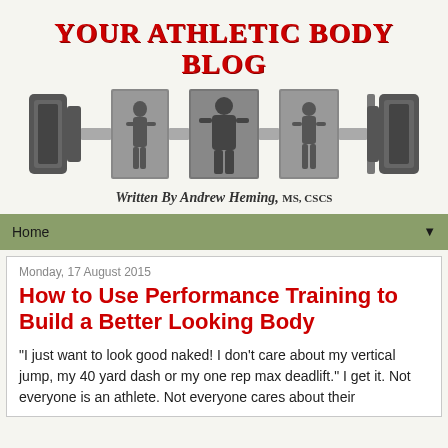[Figure (illustration): Your Athletic Body Blog header banner with barbell and fitness photos, written by Andrew Heming, MS, CSCS]
Home
Monday, 17 August 2015
How to Use Performance Training to Build a Better Looking Body
“I just want to look good naked! I don’t care about my vertical jump, my 40 yard dash or my one rep max deadlift.” I get it. Not everyone is an athlete. Not everyone cares about their